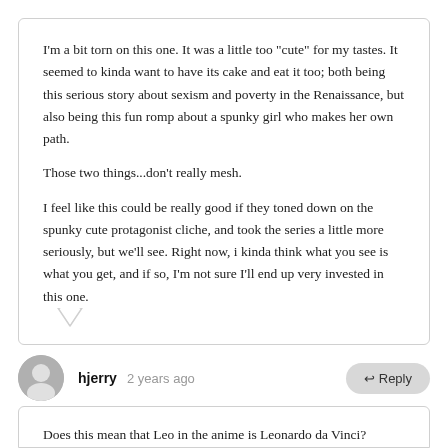I'm a bit torn on this one. It was a little too "cute" for my tastes. It seemed to kinda want to have its cake and eat it too; both being this serious story about sexism and poverty in the Renaissance, but also being this fun romp about a spunky girl who makes her own path.

Those two things...don't really mesh.

I feel like this could be really good if they toned down on the spunky cute protagonist cliche, and took the series a little more seriously, but we'll see. Right now, i kinda think what you see is what you get, and if so, I'm not sure I'll end up very invested in this one.
hjerry  2 years ago
Does this mean that Leo in the anime is Leonardo da Vinci?